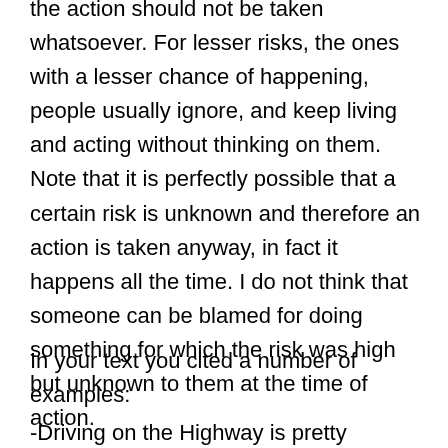the action should not be taken whatsoever. For lesser risks, the ones with a lesser chance of happening, people usually ignore, and keep living and acting without thinking on them. Note that it is perfectly possible that a certain risk is unknown and therefore an action is taken anyway, in fact it happens all the time. I do not think that someone can be blamed for doing something for which the risk was high but unknown to them at the time of action.
In your text you cited a number of examples:
-Driving on the Highway is pretty